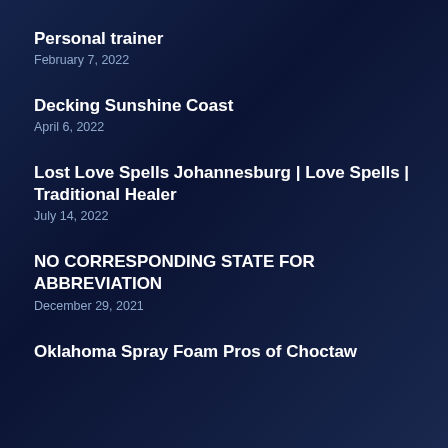Personal trainer
February 7, 2022
Decking Sunshine Coast
April 6, 2022
Lost Love Spells Johannesburg | Love Spells | Traditional Healer
July 14, 2022
NO CORRESPONDING STATE FOR ABBREVIATION
December 29, 2021
Oklahoma Spray Foam Pros of Choctaw